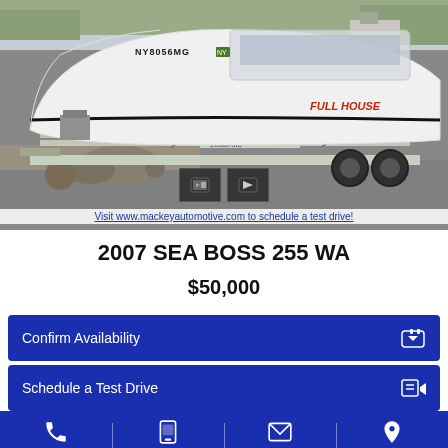[Figure (photo): White 2007 Sea Boss 255 WA boat on a LoadRite trailer parked on a road, with trees and rocks visible in the background. New York registration number NY8056MG visible on bow. 'FULL HOUSE' text visible on hull.]
Visit www.mackeyautomotive.com to schedule a test drive!
2007 SEA BOSS 255 WA
$50,000
Confirm Availability
Schedule a Test Drive
Call
Text
Contact Us
Map